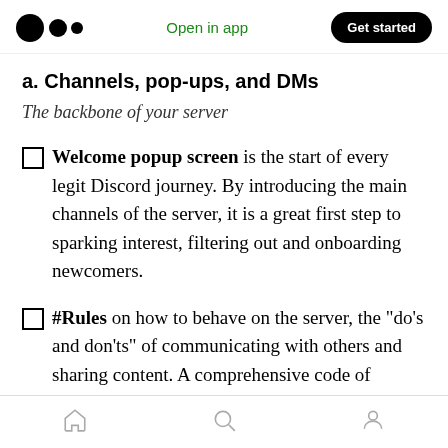Medium logo | Open in app | Get started
a. Channels, pop-ups, and DMs
The backbone of your server
Welcome popup screen is the start of every legit Discord journey. By introducing the main channels of the server, it is a great first step to sparking interest, filtering out and onboarding newcomers.
#Rules on how to behave on the server, the “do’s and don’ts” of communicating with others and sharing content. A comprehensive code of conduct is the first crucial pillar of moderation,
Home | Search | Profile